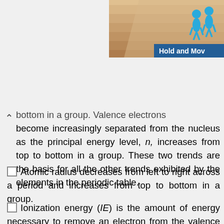[Figure (illustration): Decorative stepped/layered background image with 'Hold and Move' label and two blue human figures icon in the top-right corner]
bottom in a group. Valence electrons become increasingly separated from the nucleus as the principal energy level, n, increases from top to bottom in a group. These two trends are the basis for all the other trends exhibited by the elements in the periodic table.
Atomic radius decreases from left to right across a period and increases from top to bottom in a group.
Ionization energy (IE) is the amount of energy necessary to remove an electron from the valence shell. It increases from